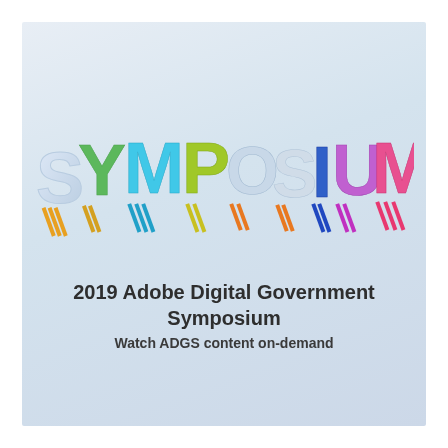[Figure (illustration): 3D colorful stylized text reading SYMPOSIUM with each letter in different colors (white/blue, orange, green, cyan, yellow/green, orange, dark blue, purple/pink, pink/magenta, pink) with diagonal stripe shadows on a light blue-grey gradient background]
2019 Adobe Digital Government Symposium
Watch ADGS content on-demand